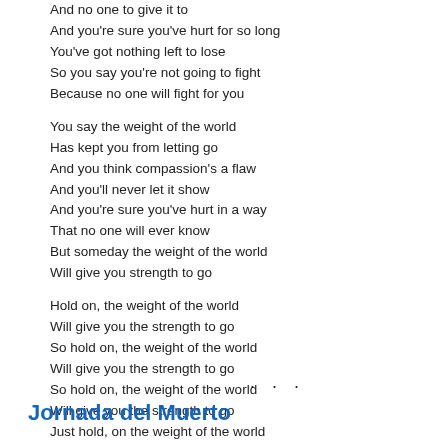And no one to give it to
And you're sure you've hurt for so long
You've got nothing left to lose
So you say you're not going to fight
Because no one will fight for you
You say the weight of the world
Has kept you from letting go
And you think compassion's a flaw
And you'll never let it show
And you're sure you've hurt in a way
That no one will ever know
But someday the weight of the world
Will give you strength to go
Hold on, the weight of the world
Will give you the strength to go
So hold on, the weight of the world
Will give you the strength to go
So hold on, the weight of the world
Will give you the strength to go
Just hold, on the weight of the world
Will give you the strength to go
· · ·
Jornada del Muerto